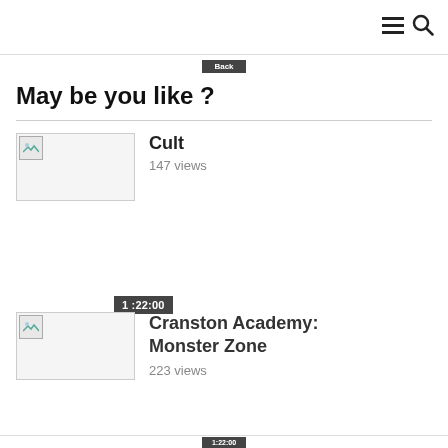≡ 🔍
May be you like ?
Cult
147 views
1 :22:00
Cranston Academy: Monster Zone
223 views